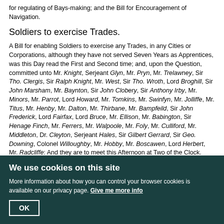for regulating of Bays-making; and the Bill for Encouragement of Navigation.
Soldiers to exercise Trades.
A Bill for enabling Soldiers to exercise any Trades, in any Cities or Corporations, although they have not served Seven Years as Apprentices, was this Day read the First and Second time; and, upon the Question, committed unto Mr. Knight, Serjeant Glyn, Mr. Pryn, Mr. Trelawney, Sir Tho. Clergis, Sir Ralph Knight, Mr. West, Sir Tho. Wroth, Lord Broghill, Sir John Marsham, Mr. Baynton, Sir John Clobery, Sir Anthony Irby, Mr. Minors, Mr. Parrot, Lord Howard, Mr. Tomkins, Mr. Swinfyn, Mr. Jolliffe, Mr. Titus, Mr. Henby, Mr. Dalton, Mr. Thirbane, Mr. Bampfeild, Sir John Frederick, Lord Fairfax, Lord Bruce, Mr. Ellison, Mr. Babington, Sir Henage Finch, Mr. Ferrers, Mr. Walpoole, Mr. Foly, Mr. Culliford, Mr. Middleton, Dr. Cleyton, Serjeant Hales, Sir Gilbert Gerrard, Sir Geo. Downing, Colonel Willoughby, Mr. Hobby, Mr. Boscawen, Lord Herbert, Mr. Radcliffe: And they are to meet this Afternoon at Two of the Clock.
Lords will sit.
Colonel Jones brings Answer from the Lords, That the Lords will sit in the
We use cookies on this site
More information about how you can control your browser cookies is available on our privacy page. Give me more info
OK